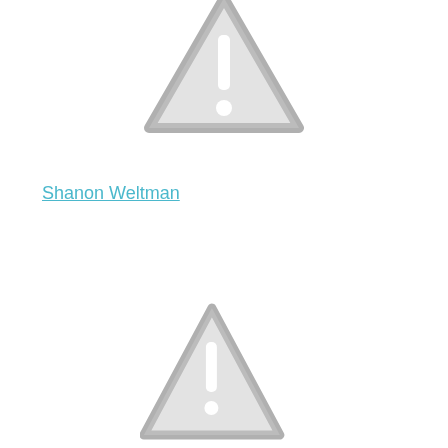[Figure (illustration): Gray warning triangle icon with exclamation mark, partially cropped at top of page]
Shanon Weltman
[Figure (illustration): Gray warning triangle icon with exclamation mark, partially cropped at bottom of page]